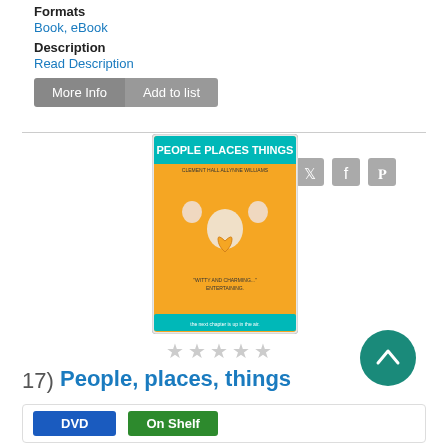Formats
Book, eBook
Description
Read Description
[Figure (screenshot): More Info and Add to list buttons with email, Twitter, Facebook, Pinterest social sharing icons]
[Figure (photo): Movie cover for People Places Things - orange background showing a man with two children on his shoulders, teal title banner at top]
[Figure (other): Five empty star rating icons]
17)  People, places, things
DVD
On Shelf